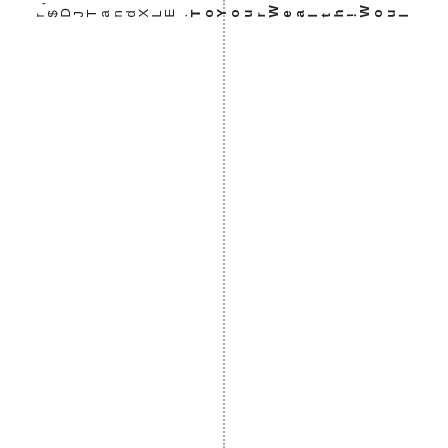r ,$SDJTandXLE. ToYourWealth!Woul